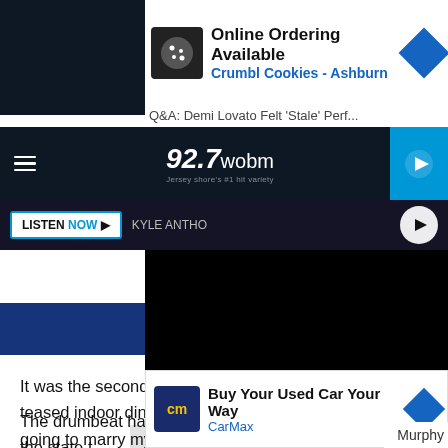[Figure (screenshot): Advertisement banner: Online Ordering Available - Crumbl Cookies - Ashburn]
Q&A: Demi Lovato Felt 'Stale' Perf...
[Figure (screenshot): 92.7 WOBM radio station navigation bar with hamburger menu and play button]
[Figure (screenshot): Listen Now bar with KYLE ANTHO text and play button circle]
[Figure (screenshot): Black video player area with blue accent bars]
It was the second time this week that Murphy has teased indoor dining. On Monday he said that "I'm not going to marry myself to a date yet but the data is unquestionably good of late."
The drumbeat has growing louder in New Jersey to get the state t
[Figure (screenshot): Advertisement banner: Buy Your Used Car Your Way - CarMax]
Murphy